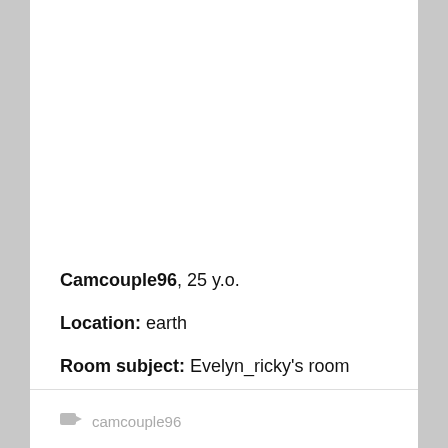Camcouple96, 25 y.o.
Location: earth
Room subject: Evelyn_ricky's room
camcouple96